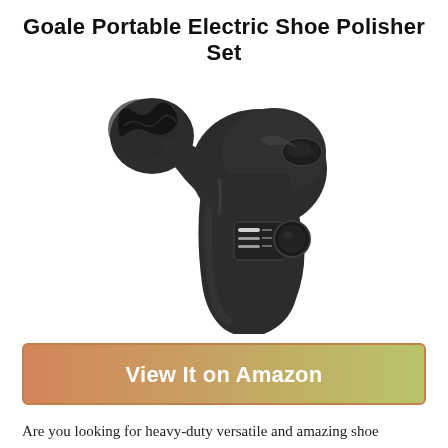Goale Portable Electric Shoe Polisher Set
[Figure (photo): A black handheld electric shoe polisher device with a round brush attachment on the front and a control button panel on the side, shown on a white background.]
[Figure (other): View It on Amazon button with orange-to-green gradient background and white bold text]
Are you looking for heavy-duty versatile and amazing shoe polisher in